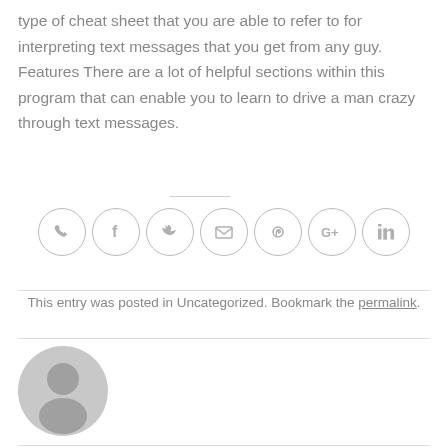type of cheat sheet that you are able to refer to for interpreting text messages that you get from any guy. Features There are a lot of helpful sections within this program that can enable you to learn to drive a man crazy through text messages.
[Figure (infographic): Social sharing icons in circles: phone, Facebook, Twitter, email, Pinterest, Google+, LinkedIn]
This entry was posted in Uncategorized. Bookmark the permalink.
[Figure (photo): Generic grey user avatar/profile image placeholder]